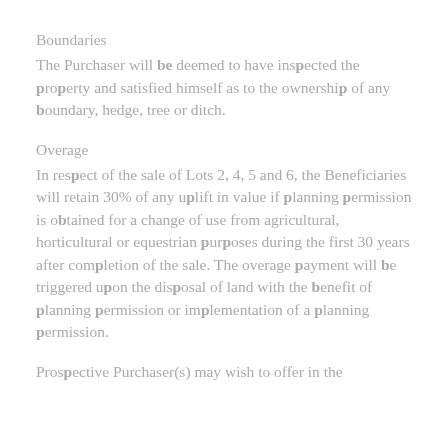Boundaries
The Purchaser will be deemed to have inspected the property and satisfied himself as to the ownership of any boundary, hedge, tree or ditch.
Overage
In respect of the sale of Lots 2, 4, 5 and 6, the Beneficiaries will retain 30% of any uplift in value if planning permission is obtained for a change of use from agricultural, horticultural or equestrian purposes during the first 30 years after completion of the sale. The overage payment will be triggered upon the disposal of land with the benefit of planning permission or implementation of a planning permission.
Prospective Purchaser(s) may wish to offer in the